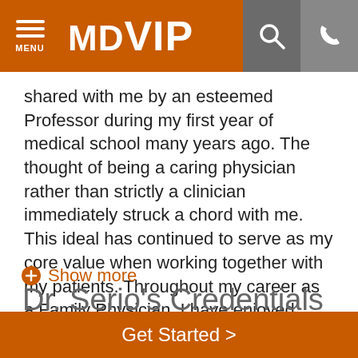[Figure (logo): MDVIP logo with navigation bar showing hamburger menu, MDVIP text logo, search icon, and phone icon on orange background]
shared with me by an esteemed Professor during my first year of medical school many years ago. The thought of being a caring physician rather than strictly a clinician immediately struck a chord with me. This ideal has continued to serve as my core value when working together with my patients. Throughout my career as a Family Physician, I have enjoyed getting to know my patie...
Show more
Dr. Serio's Credentials
Expand All
EDUCATION
Get Started >